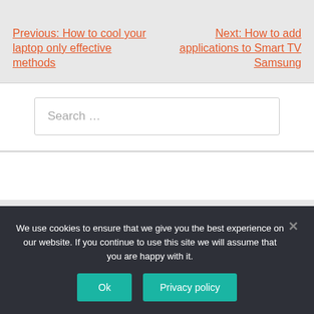Previous: How to cool your laptop only effective methods
Next: How to add applications to Smart TV Samsung
Search …
We use cookies to ensure that we give you the best experience on our website. If you continue to use this site we will assume that you are happy with it.
Ok
Privacy policy